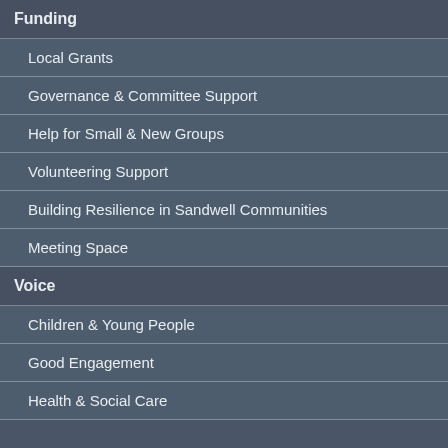Funding
Local Grants
Governance & Committee Support
Help for Small & New Groups
Volunteering Support
Building Resilience in Sandwell Communities
Meeting Space
Voice
Children & Young People
Good Engagement
Health & Social Care